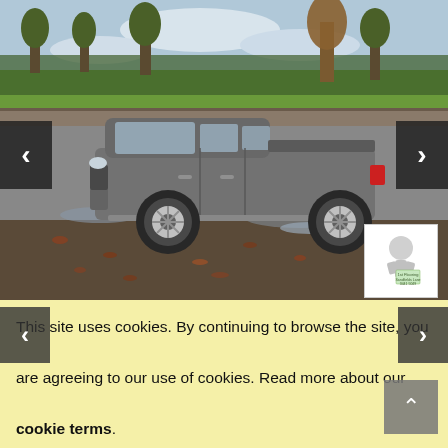[Figure (photo): A gray Toyota Hilux pickup truck parked on a wet gravel surface with fallen leaves. Background shows trees and a green field. A small watermark/logo is visible in the bottom-right corner of the image. Navigation arrows on left and right sides of the carousel.]
This site uses cookies. By continuing to browse the site, you are agreeing to our use of cookies. Read more about our cookie terms.